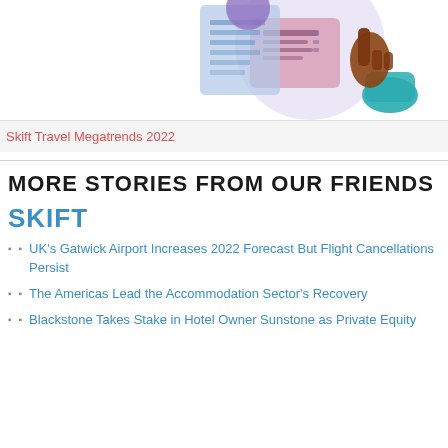[Figure (illustration): Illustration of a person interacting with a digital interface/screen, with a hand pointing at UI elements. Purple/pink/teal color scheme.]
Skift Travel Megatrends 2022
MORE STORIES FROM OUR FRIENDS
SKIFT
UK's Gatwick Airport Increases 2022 Forecast But Flight Cancellations Persist
The Americas Lead the Accommodation Sector's Recovery
Blackstone Takes Stake in Hotel Owner Sunstone as Private Equity Firms Are Looking Back